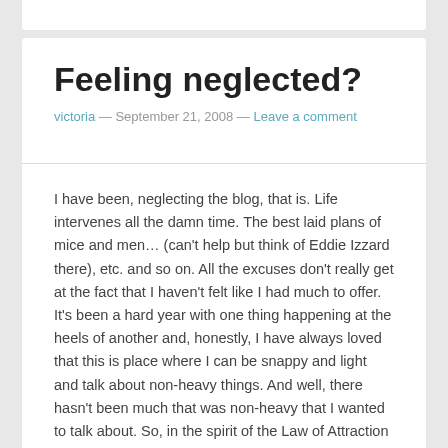Feeling neglected?
victoria — September 21, 2008 — Leave a comment
I have been, neglecting the blog, that is. Life intervenes all the damn time. The best laid plans of mice and men… (can't help but think of Eddie Izzard there), etc. and so on. All the excuses don't really get at the fact that I haven't felt like I had much to offer. It's been a hard year with one thing happening at the heels of another and, honestly, I have always loved that this is place where I can be snappy and light and talk about non-heavy things. And well, there hasn't been much that was non-heavy that I wanted to talk about. So, in the spirit of the Law of Attraction or whatever you might want to call it, I am going to talk about light things and about my new obsession. I actually have two but the other one, redecorating and purging clutter, doesn't really have anything to do with food either
About four months ago, I bought a book, Harumi's Japanese Cooking, to be precise, and you know how I love to be precise